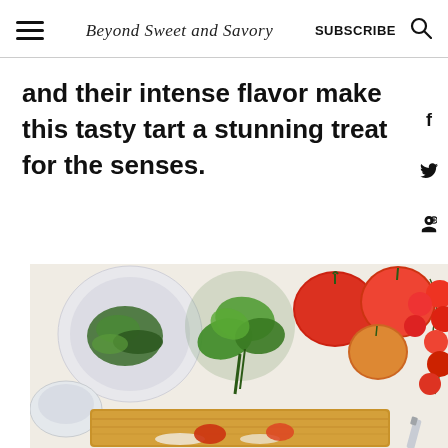Beyond Sweet and Savory | SUBSCRIBE
and their intense flavor make this tasty tart a stunning treat for the senses.
[Figure (photo): Overhead flat-lay photo of tomatoes (large heirloom, cherry on vine), fresh basil leaves, a dish of cooked greens, a small bowl, and a pastry tart, arranged on a white surface.]